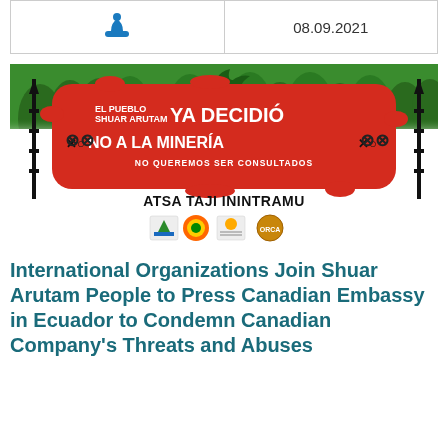08.09.2021
[Figure (illustration): Protest poster for Shuar Arutam people against mining. Red background with text 'EL PUEBLO SHUAR ARUTAM YA DECIDIÓ NO A LA MINERÍA NO QUEREMOS SER CONSULTADOS' with decorative xo symbols, forest/jungle silhouette at top, two decorated spears on sides, text 'ATSA TAJI ININTRAMU' below, and four organization logos at bottom.]
International Organizations Join Shuar Arutam People to Press Canadian Embassy in Ecuador to Condemn Canadian Company's Threats and Abuses